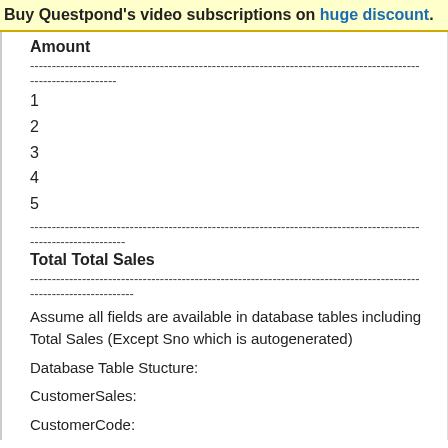Buy Questpond's video subscriptions on huge discount.
Amount
-------------------------------------------------------------------------------------
--------------------
1
2
3
4
5
-------------------------------------------------------------------------------------
----------------------
Total Total Sales
-------------------------------------------------------------------------------------
------------------------
Assume all fields are available in database tables including Total Sales (Except Sno which is autogenerated)
Database Table Stucture:
CustomerSales:
CustomerCode: